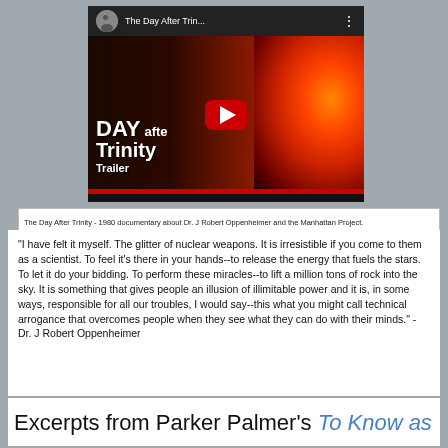[Figure (screenshot): YouTube video thumbnail for 'The Day After Trin...' showing a nuclear explosion fireball with bold white text 'DAY after Trinity Trailer' on a dark background, with a red YouTube play button in the center.]
The Day After Trinity - 1980 documentary about Dr. J Robert Oppenheimer and the Manhattan Project.
"I have felt it myself. The glitter of nuclear weapons. It is irresistible if you come to them as a scientist. To feel it's there in your hands--to release the energy that fuels the stars. To let it do your bidding. To perform these miracles--to lift a million tons of rock into the sky. It is something that gives people an illusion of illimitable power and it is, in some ways, responsible for all our troubles, I would say--this what you might call technical arrogance that overcomes people when they see what they can do with their minds." - Dr. J Robert Oppenheimer
Excerpts from Parker Palmer's To Know as